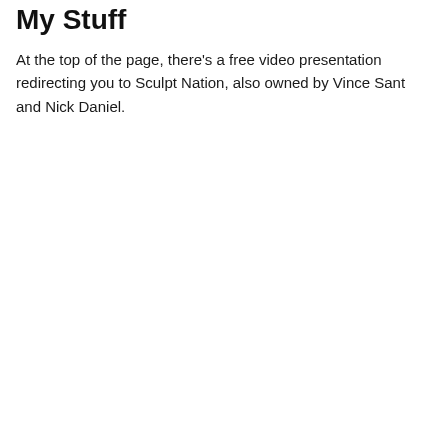My Stuff
At the top of the page, there's a free video presentation redirecting you to Sculpt Nation, also owned by Vince Sant and Nick Daniel.